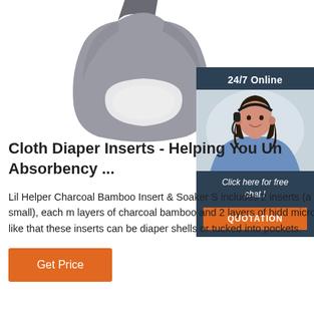[Figure (photo): A cloth diaper insert/soaker pad product photo shown hanging, with gray waterproof outer shell visible at top and white absorbent pad at bottom]
[Figure (infographic): 24/7 Online chat widget with a smiling woman wearing a headset, with 'Click here for free chat!' text and an orange QUOTATION button]
Cloth Diaper Inserts - Helping You Un Absorbency ...
Lil Helper Charcoal Bamboo Insert & Soaker S includes 2 inserts (a large and a small), each m layers of charcoal bamboo and 2 layers of hidd microfiber terry. I like that these inserts can be diaper shells or tucked into pockets.
Get Price